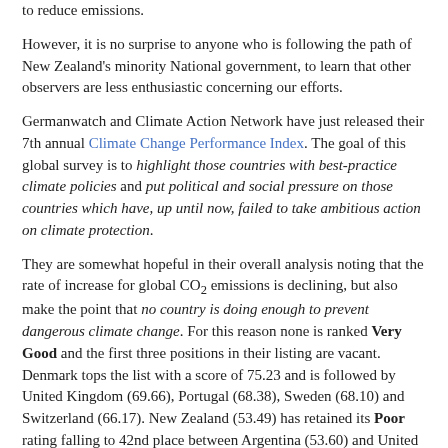to reduce emissions.
However, it is no surprise to anyone who is following the path of New Zealand's minority National government, to learn that other observers are less enthusiastic concerning our efforts.
Germanwatch and Climate Action Network have just released their 7th annual Climate Change Performance Index. The goal of this global survey is to highlight those countries with best-practice climate policies and put political and social pressure on those countries which have, up until now, failed to take ambitious action on climate protection.
They are somewhat hopeful in their overall analysis noting that the rate of increase for global CO2 emissions is declining, but also make the point that no country is doing enough to prevent dangerous climate change. For this reason none is ranked Very Good and the first three positions in their listing are vacant. Denmark tops the list with a score of 75.23 and is followed by United Kingdom (69.66), Portugal (68.38), Sweden (68.10) and Switzerland (66.17). New Zealand (53.49) has retained its Poor rating falling to 42nd place between Argentina (53.60) and United States (52.93). Australia (41.53) also retains its rating (Very Poor), coming 57th out of the 61 countries assessed.
Individual scores are calculated from the assessment of performance